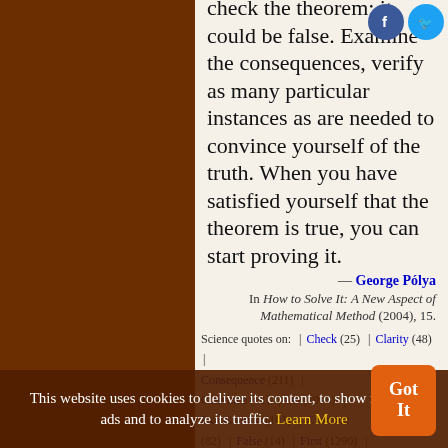check the theorem; it could be false. Examine the consequences, verify as many particular instances as are needed to convince yourself of the truth. When you have satisfied yourself that the theorem is true, you can start proving it.
— George Pólya
In How to Solve It: A New Aspect of Mathematical Method (2004), 15.
Science quotes on: | Check (25) | Clarity (48) | Consequence (211) | Convince (41) | Do (1905) | Examination (101) | Examine | False | First (1290) | Mean (808) | Meaning (2...) | Need (303) | Particular (78) | Proof (297) | Prove (256) | Rush (18) | Satisfaction (75) | Say (985) |
This website uses cookies to deliver its content, to show relevant ads and to analyze its traffic. Learn More